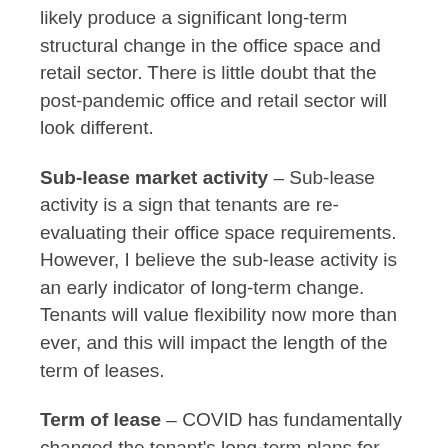likely produce a significant long-term structural change in the office space and retail sector. There is little doubt that the post-pandemic office and retail sector will look different.
Sub-lease market activity – Sub-lease activity is a sign that tenants are re-evaluating their office space requirements. However, I believe the sub-lease activity is an early indicator of long-term change. Tenants will value flexibility now more than ever, and this will impact the length of the term of leases.
Term of lease – COVID has fundamentally changed the tenant's long-term plans for office and retail space. As a result, I expect landlords are going to need to adjust their expectations to accommodate demand. The net result will